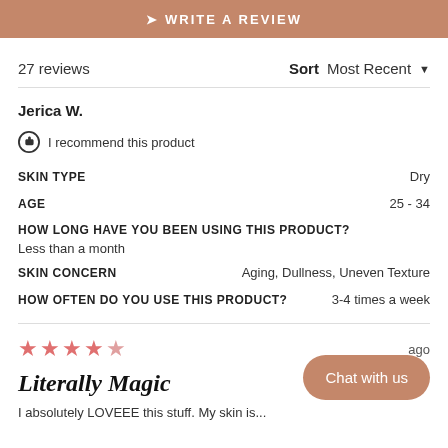[Figure (other): Write a Review button bar in brownish-pink color with arrow icon and uppercase text]
27 reviews
Sort  Most Recent
Jerica W.
I recommend this product
SKIN TYPE  Dry
AGE  25 - 34
HOW LONG HAVE YOU BEEN USING THIS PRODUCT?  Less than a month
SKIN CONCERN  Aging, Dullness, Uneven Texture
HOW OFTEN DO YOU USE THIS PRODUCT?  3-4 times a week
Literally Magic
I absolutely LOVEEE this stuff. My skin is...
[Figure (other): Chat with us button, brownish-pink rounded rectangle]